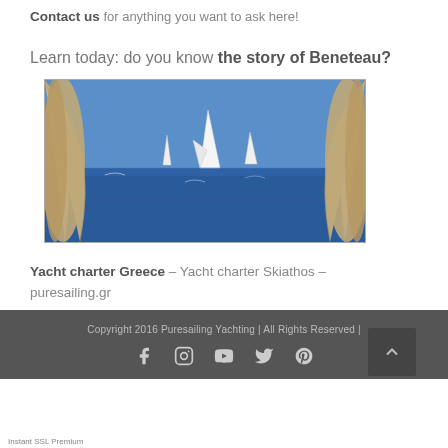Contact us for anything you want to ask here!
Learn today: do you know the story of Beneteau?
[Figure (photo): Sailing yachts on the open sea viewed through ropes/rigging, blue sky and water, three white-sailed yachts visible in the distance.]
Yacht charter Greece – Yacht charter Skiathos – puresailing.gr
Copyright 2016 Puresailing Yachting | All Rights Reserved |
Instant SSL Premium